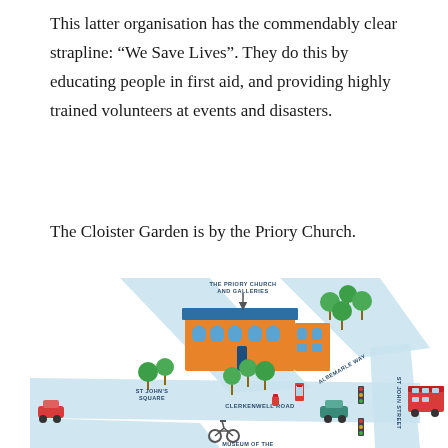This latter organisation has the commendably clear strapline: “We Save Lives”. They do this by educating people in first aid, and providing highly trained volunteers at events and disasters.
The Cloister Garden is by the Priory Church.
[Figure (map): Illustrated map showing St John's Square area with The Priory Church and Galleries, Albemarle Way, Clerkenwell Road, St John Street, trees, cars, a red bus, traffic lights, phone boxes, and a bicycle. Labels include: THE PRIORY CHURCH AND GALLERIES, ST JOHN'S SQUARE, ALBEMARLE WAY, CLERKENWELL ROAD, ST JOHN STREET, MUSEUM OF THE...]